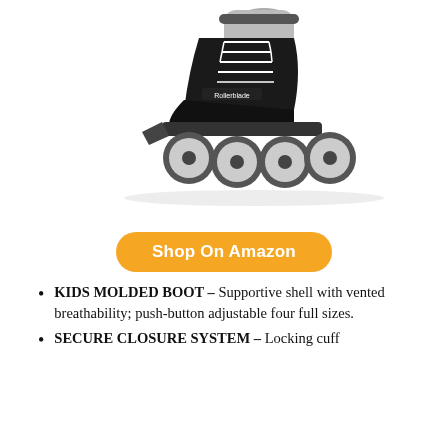[Figure (photo): Black and gray inline roller skate (Rollerblade brand) with white laces, gray ankle support, black frame, and gray wheels, shown from the side on a white background.]
Shop On Amazon
KIDS MOLDED BOOT – Supportive shell with vented breathability; push-button adjustable four full sizes.
SECURE CLOSURE SYSTEM – Locking cuff